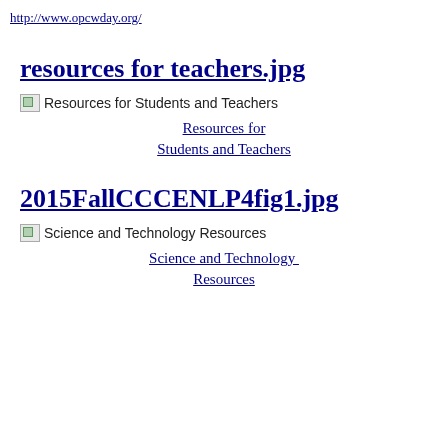http://www.opcwday.org/
resources for teachers.jpg
[Figure (other): Broken image placeholder with alt text: Resources for Students and Teachers]
Resources for Students and Teachers
2015FallCCCENLP4fig1.jpg
[Figure (other): Broken image placeholder with alt text: Science and Technology Resources]
Science and Technology Resources